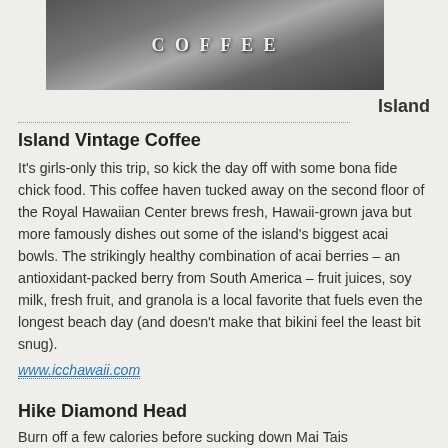[Figure (photo): Black and white photo of a coffee shop sign reading 'COFFEE']
Island
Island Vintage Coffee
It's girls-only this trip, so kick the day off with some bona fide chick food. This coffee haven tucked away on the second floor of the Royal Hawaiian Center brews fresh, Hawaii-grown java but more famously dishes out some of the island's biggest acai bowls. The strikingly healthy combination of acai berries – an antioxidant-packed berry from South America – fruit juices, soy milk, fresh fruit, and granola is a local favorite that fuels even the longest beach day (and doesn't make that bikini feel the least bit snug).
www.icchawaii.com
Hike Diamond Head
Burn off a few calories before sucking down Mai Tais